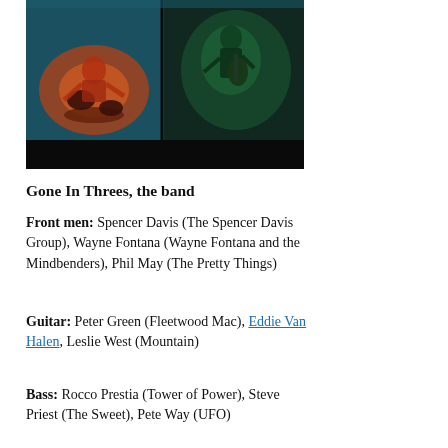[Figure (photo): Concert photo collage showing band members on stage, including a drummer performing on the left side in orange lighting and a guitarist on the right in green/dark lighting, against a dark teal background.]
Gone In Threes, the band
Front men: Spencer Davis (The Spencer Davis Group), Wayne Fontana (Wayne Fontana and the Mindbenders), Phil May (The Pretty Things)
Guitar: Peter Green (Fleetwood Mac), Eddie Van Halen, Leslie West (Mountain)
Bass: Rocco Prestia (Tower of Power), Steve Priest (The Sweet), Pete Way (UFO)
Drums and percussion: Tony Allen (Afrobeat...